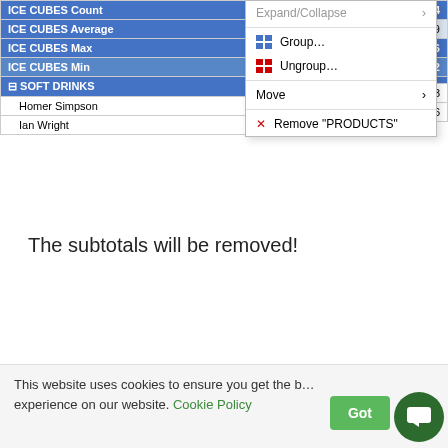[Figure (screenshot): Top portion showing a pivot table context menu with options: Expand/Collapse, Group, Ungroup, Move, Remove PRODUCTS. Left panel shows ICE CUBES Count, ICE CUBES Average, ICE CUBES Max, ICE CUBES Min, SOFT DRINKS group with Homer Simpson and Ian Wright rows. Right side shows numeric data columns with values like 48/144, 55958/54609, 98236/98236, 10282/10282, 778181/2037353, 625957/2085086.]
The subtotals will be removed!
[Figure (screenshot): Pivot table screenshot showing SALES data by Row Labels and Column Labels for years 2012, 2013, 2014 and Grand Total. BOTTLES section: Homer Simpson (693855, 827901, 563154, 2084,9xx), Ian Wright (671757, 579190, 703240, 1954,18x), John Michaloudis (714353, 710555, 586103, 2011011), Michael Jackson (674873, 740082, 692115, 2107070). ICE CUBES section: Homer Simpson (733716, 747964, 722268, 2203948), Ian Wright (610481, 680933, 630075, 1921489), John Michaloudis (510086, 739286, 723257, 1972629), Michael Jackson (555207, 600038, 610389, 1765634). SOFT DRINKS row partially visible.]
This website uses cookies to ensure you get the best experience on our website. Cookie Policy